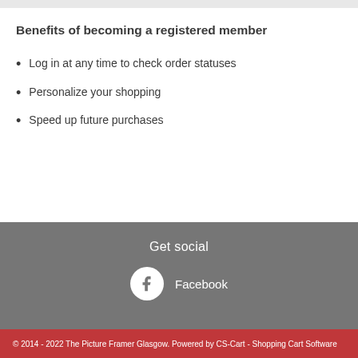Benefits of becoming a registered member
Log in at any time to check order statuses
Personalize your shopping
Speed up future purchases
Get social
Facebook
© 2014 - 2022 The Picture Framer Glasgow.  Powered by CS-Cart - Shopping Cart Software